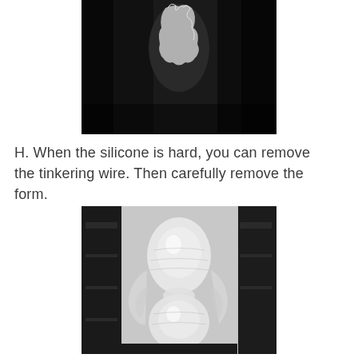[Figure (photo): Black and white close-up photo of a silicone mold being peeled or torn, showing rough torn edges against a dark background]
H. When the silicone is hard, you can remove the tinkering wire. Then carefully remove the form.
[Figure (photo): Photo of a translucent white silicone form shaped like a double-sphere or figure-8 shape, still attached to a black frame/form structure, showing the result after the tinkering wire has been removed]